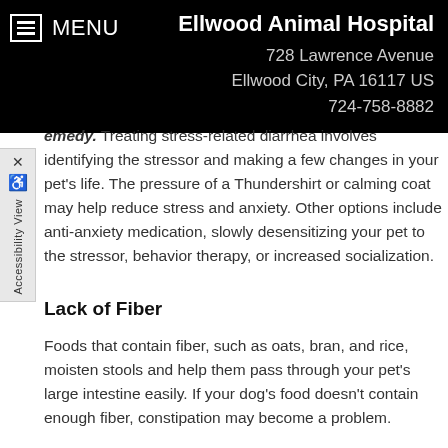MENU | Ellwood Animal Hospital
728 Lawrence Avenue
Ellwood City, PA 16117 US
724-758-8882
emedy. Treating stress-related diarrhea involves identifying the stressor and making a few changes in your pet's life. The pressure of a Thundershirt or calming coat may help reduce stress and anxiety. Other options include anti-anxiety medication, slowly desensitizing your pet to the stressor, behavior therapy, or increased socialization.
Lack of Fiber
Foods that contain fiber, such as oats, bran, and rice, moisten stools and help them pass through your pet's large intestine easily. If your dog's food doesn't contain enough fiber, constipation may become a problem.